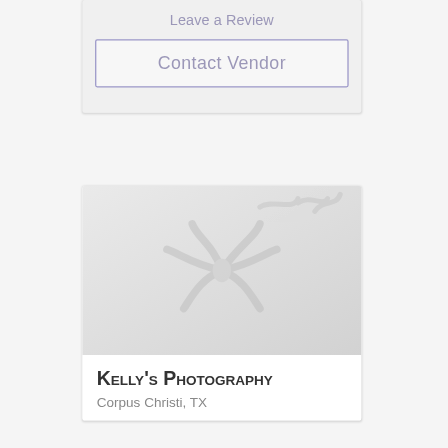Leave a Review
Contact Vendor
[Figure (illustration): Vendor card with a light gray placeholder image showing a floral/flower watermark graphic in gray tones]
Kelly's Photography
Corpus Christi, TX